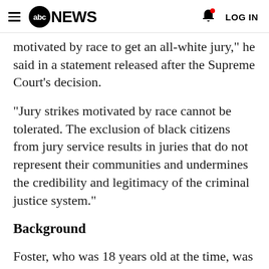abc NEWS  LOG IN
motivated by race to get an all-white jury," he said in a statement released after the Supreme Court's decision.
"Jury strikes motivated by race cannot be tolerated. The exclusion of black citizens from jury service results in juries that do not represent their communities and undermines the credibility and legitimacy of the criminal justice system."
Background
Foster, who was 18 years old at the time, was arrested and convicted for the 1986 murder of